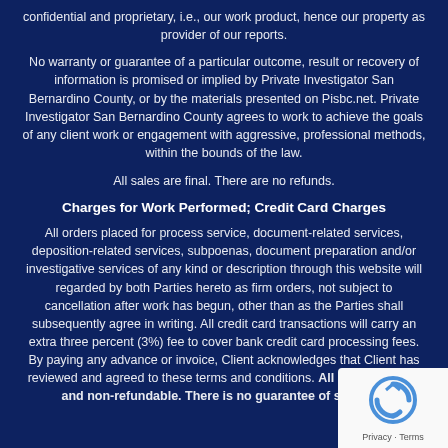confidential and proprietary, i.e., our work product, hence our property as provider of our reports.
No warranty or guarantee of a particular outcome, result or recovery of information is promised or implied by Private Investigator San Bernardino County, or by the materials presented on Pisbc.net. Private Investigator San Bernardino County agrees to work to achieve the goals of any client work or engagement with aggressive, professional methods, within the bounds of the law.
All sales are final. There are no refunds.
Charges for Work Performed; Credit Card Charges
All orders placed for process service, document-related services, deposition-related services, subpoenas, document preparation and/or investigative services of any kind or description through this website will regarded by both Parties hereto as firm orders, not subject to cancellation after work has begun, other than as the Parties shall subsequently agree in writing. All credit card transactions will carry an extra three percent (3%) fee to cover bank credit card processing fees. By paying any advance or invoice, Client acknowledges that Client has reviewed and agreed to these terms and conditions. All sales are final and non-refundable. There is no guarantee of success.
[Figure (logo): reCAPTCHA badge with Privacy and Terms links]